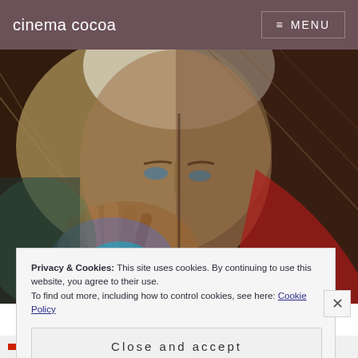cinema cocoa    ≡ MENU
[Figure (photo): Movie poster image of Doctor Strange (Marvel superhero) with a close-up of a man's face partially obscured by a glowing hand with magical energy effects. Background shows bright light and architectural elements.]
Privacy & Cookies: This site uses cookies. By continuing to use this website, you agree to their use.
To find out more, including how to control cookies, see here: Cookie Policy
Close and accept